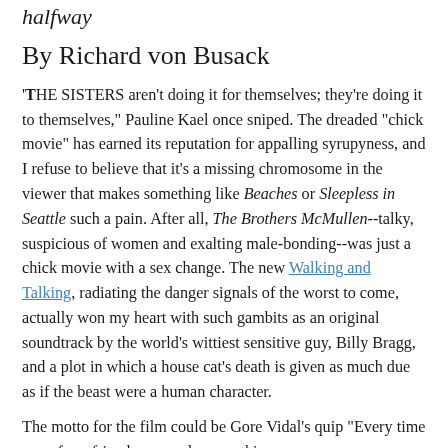halfway
By Richard von Busack
'THE SISTERS aren't doing it for themselves; they're doing it to themselves," Pauline Kael once sniped. The dreaded "chick movie" has earned its reputation for appalling syrupyness, and I refuse to believe that it's a missing chromosome in the viewer that makes something like Beaches or Sleepless in Seattle such a pain. After all, The Brothers McMullen--talky, suspicious of women and exalting male-bonding--was just a chick movie with a sex change. The new Walking and Talking, radiating the danger signals of the worst to come, actually won my heart with such gambits as an original soundtrack by the world's wittiest sensitive guy, Billy Bragg, and a plot in which a house cat's death is given as much due as if the beast were a human character.
The motto for the film could be Gore Vidal's quip "Every time one of my friends succeeds, something